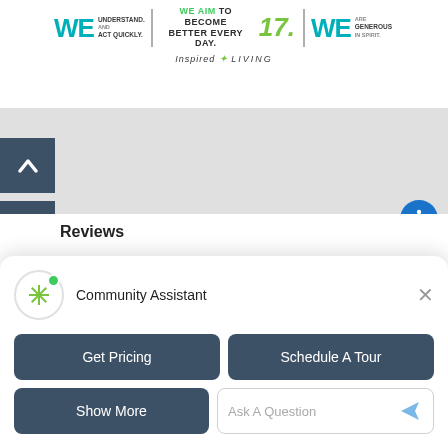[Figure (logo): Inspired Living brand banner with teal WE logos, slogans UNDERSTAND AND ACT QUICKLY, BETTER EVERY DAY, and AND GENEROUS IN SPIRIT, green italic 17, and Inspired Living script logo]
[Figure (screenshot): Map UI area with dark navy up-arrow button and phone button on left sidebar, accessibility icon on right]
Reviews
[Figure (screenshot): Community Assistant chat widget with star logo, online green dot, Community Assistant label, close X button, Get Pricing button, Schedule A Tour button, Show More button, and Ask A Question input field with send arrow]